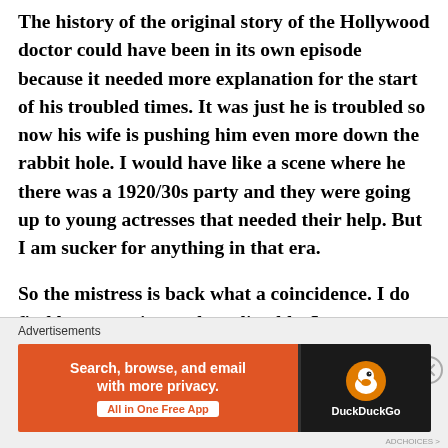The history of the original story of the Hollywood doctor could have been in its own episode because it needed more explanation for the start of his troubled times. It was just he is troubled so now his wife is pushing him even more down the rabbit hole. I would have like a scene where he there was a 1920/30s party and they were going up to young actresses that needed their help. But I am sucker for anything in that era.
So the mistress is back what a coincidence. I do find her annoying and predictable. I was surprised she
[Figure (other): DuckDuckGo advertisement banner: orange background on left with text 'Search, browse, and email with more privacy.' and 'All in One Free App' button; dark right panel with DuckDuckGo duck logo and brand name. Advertisements label above. Close (X) button at top right.]